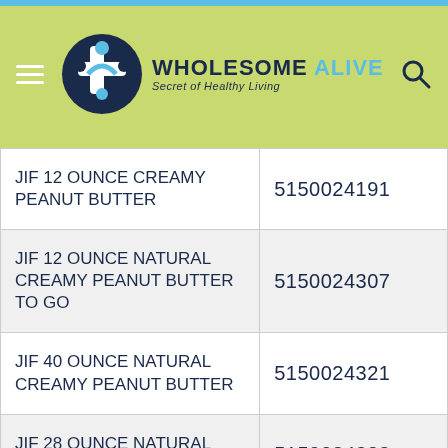[Figure (logo): Wholesome Alive logo with tagline 'Secret of Healthy Living' on a light green/yellow-green background with a cyan bar at the top]
| Product | Code |
| --- | --- |
| JIF 12 OUNCE CREAMY PEANUT BUTTER | 5150024191 |
| JIF 12 OUNCE NATURAL CREAMY PEANUT BUTTER TO GO | 5150024307 |
| JIF 40 OUNCE NATURAL CREAMY PEANUT BUTTER | 5150024321 |
| JIF 28 OUNCE NATURAL CREAMY PEANUT BUTTER | 5150024322 |
| JIF 4 POUND CAN CREAMY PEANUT BUTTER | 5150024331 |